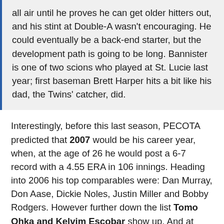all air until he proves he can get older hitters out, and his stint at Double-A wasn't encouraging. He could eventually be a back-end starter, but the development path is going to be long. Bannister is one of two scions who played at St. Lucie last year; first baseman Brett Harper hits a bit like his dad, the Twins' catcher, did.
Interestingly, before this last season, PECOTA predicted that 2007 would be his career year, when, at the age of 26 he would post a 6-7 record with a 4.55 ERA in 106 innings. Heading into 2006 his top comparables were: Dan Murray, Don Aase, Dickie Noles, Justin Miller and Bobby Rodgers. However further down the list Tomo Ohka and Kelvim Escobar show up. And at least you've heard of them.